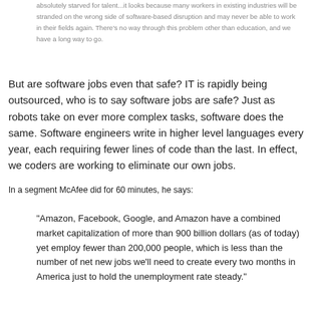absolutely starved for talent...it looks because many workers in existing industries will be stranded on the wrong side of software-based disruption and may never be able to work in their fields again. There's no way through this problem other than education, and we have a long way to go.
But are software jobs even that safe? IT is rapidly being outsourced, who is to say software jobs are safe? Just as robots take on ever more complex tasks, software does the same. Software engineers write in higher level languages every year, each requiring fewer lines of code than the last. In effect, we coders are working to eliminate our own jobs.
In a segment McAfee did for 60 minutes, he says:
"Amazon, Facebook, Google, and Amazon have a combined market capitalization of more than 900 billion dollars (as of today) yet employ fewer than 200,000 people, which is less than the number of net new jobs we’ll need to create every two months in America just to hold the unemployment rate steady."